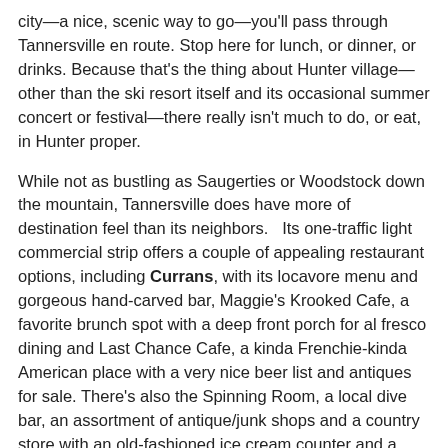city—a nice, scenic way to go—you'll pass through Tannersville en route. Stop here for lunch, or dinner, or drinks. Because that's the thing about Hunter village—other than the ski resort itself and its occasional summer concert or festival—there really isn't much to do, or eat, in Hunter proper.
While not as bustling as Saugerties or Woodstock down the mountain, Tannersville does have more of destination feel than its neighbors.   Its one-traffic light commercial strip offers a couple of appealing restaurant options, including Currans, with its locavore menu and gorgeous hand-carved bar, Maggie's Krooked Cafe, a favorite brunch spot with a deep front porch for al fresco dining and Last Chance Cafe, a kinda Frenchie-kinda American place with a very nice beer list and antiques for sale. There's also the Spinning Room, a local dive bar, an assortment of antique/junk shops and a country store with an old-fashioned ice cream counter and a cute stuffed bear. Oh, and a kosher deli. And a couple of B&Bs, including one called Grateful Bed, complete with dancing bear. (Get the reference?) All of these spots are found housed in brightly painted Victorian buildings, many of them converted